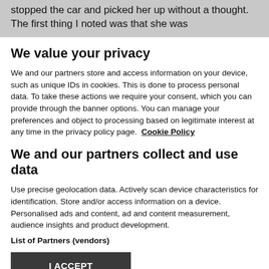stopped the car and picked her up without a thought. The first thing I noted was that she was
We value your privacy
We and our partners store and access information on your device, such as unique IDs in cookies. This is done to process personal data. To take these actions we require your consent, which you can provide through the banner options. You can manage your preferences and object to processing based on legitimate interest at any time in the privacy policy page.  Cookie Policy
We and our partners collect and use data
Use precise geolocation data. Actively scan device characteristics for identification. Store and/or access information on a device. Personalised ads and content, ad and content measurement, audience insights and product development.
List of Partners (vendors)
I ACCEPT